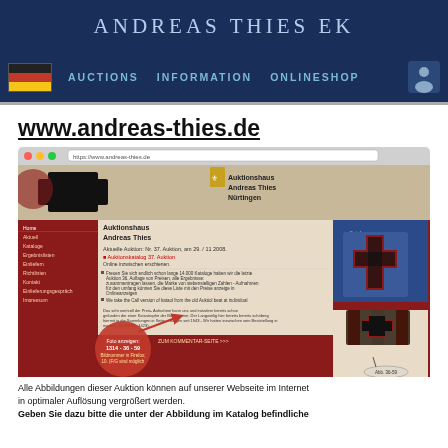ANDREAS THIES EK
AUCTIONS   INFORMATION   ONLINESHOP
www.andreas-thies.de
[Figure (screenshot): Screenshot of the Andreas Thies auction website showing a red and beige themed page with Iron Cross medals, site navigation, and a zoomed callout circle showing an image enlargement feature with 'Foto anzeigen' label.]
Alle Abbildungen dieser Auktion können auf unserer Webseite im Internet in optimaler Auflösung vergrößert werden. Geben Sie dazu bitte die unter der Abbildung im Katalog befindliche